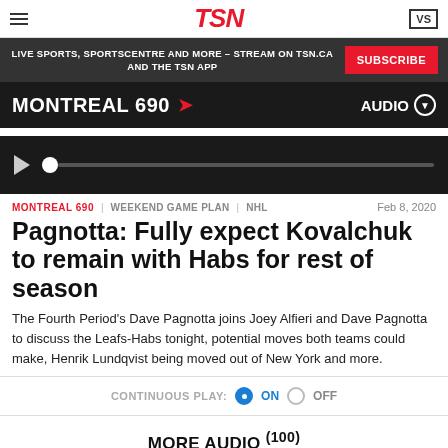TSN
LIVE SPORTS, SPORTSCENTRE AND MORE – STREAM ON TSN.CA AND THE TSN APP
SUBSCRIBE
MONTREAL 690
AUDIO
[Figure (other): Audio player progress bar with play button]
MONTREAL 690 | WEEKEND GAME PLAN | NHL   Feb 8, 2020
Pagnotta: Fully expect Kovalchuk to remain with Habs for rest of season
The Fourth Period's Dave Pagnotta joins Joey Alfieri and Dave Pagnotta to discuss the Leafs-Habs tonight, potential moves both teams could make, Henrik Lundqvist being moved out of New York and more.
CONTINUOUS PLAY: ON OFF
MORE AUDIO (100)